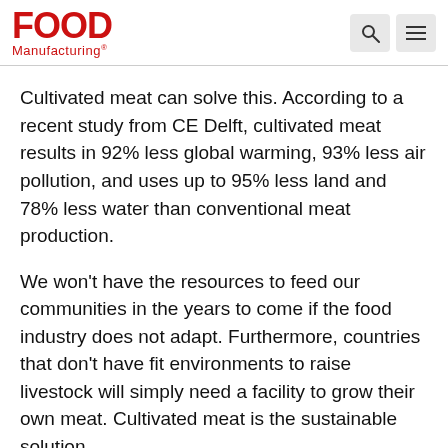FOOD Manufacturing
Cultivated meat can solve this. According to a recent study from CE Delft, cultivated meat results in 92% less global warming, 93% less air pollution, and uses up to 95% less land and 78% less water than conventional meat production.
We won't have the resources to feed our communities in the years to come if the food industry does not adapt. Furthermore, countries that don't have fit environments to raise livestock will simply need a facility to grow their own meat. Cultivated meat is the sustainable solution.
FM: What makes the cultivated meat space stand out in the overall alternative proteins sector?